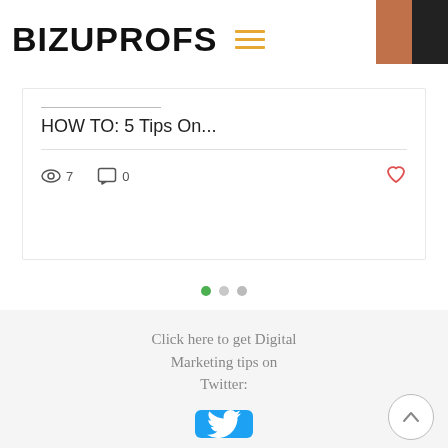BIZUPROFS
HOW TO: 5 Tips On...
7 views  0 comments
[Figure (infographic): Pagination dots: green filled dot, two gray dots]
Click here to get Digital Marketing tips on Twitter:
[Figure (logo): Twitter bird logo in a blue rounded rectangle button]
info@bizuprofs.com